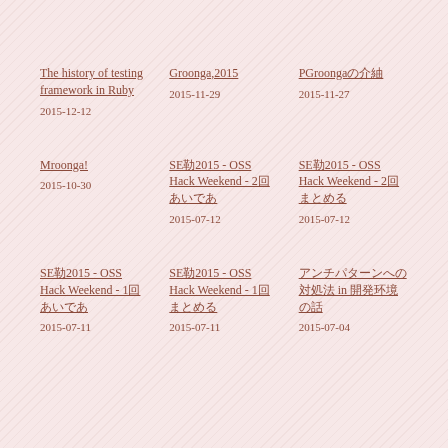The history of testing framework in Ruby
2015-12-12
Groonga で 2015
2015-11-29
PGroonga の紹介
2015-11-27
Mroonga!
2015-10-30
SE勉強2015 - OSS Hack Weekend - 2回目のアイデア
2015-07-12
SE勉強2015 - OSS Hack Weekend - 2回目のまとめ
2015-07-12
SE勉強2015 - OSS Hack Weekend - 1回目のアイデア
2015-07-11
SE勉強2015 - OSS Hack Weekend - 1回目のまとめ
2015-07-11
アンチパターンへの対処法 in 開発環境の話
2015-07-04